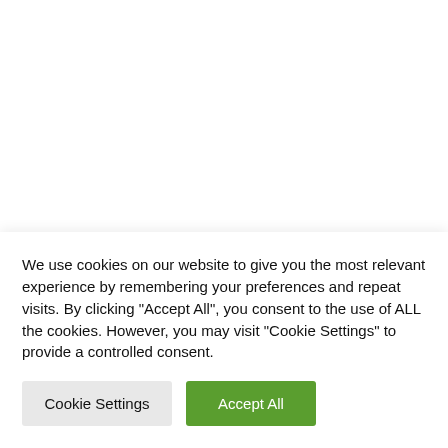[Figure (logo): Pragmatic Psychology logo with peacock bird illustration on the left and text 'Pragmatic Psychology' with a tagline on the right]
ies: Values
We use cookies on our website to give you the most relevant experience by remembering your preferences and repeat visits. By clicking “Accept All”, you consent to the use of ALL the cookies. However, you may visit "Cookie Settings" to provide a controlled consent.
Cookie Settings
Accept All